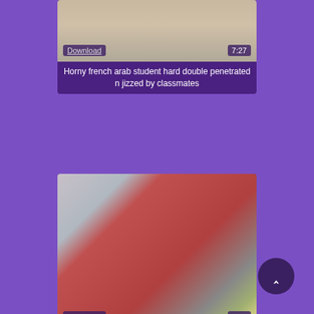[Figure (photo): Video thumbnail showing partial view of people on a bed, with Download link overlay and duration 7:27]
Horny french arab student hard double penetrated n jizzed by classmates
[Figure (photo): Video thumbnail showing a woman in a red dress standing in a bedroom, with Download link overlay and duration 2:24]
Interraced Chesty brunette gets anally fucked by a big fat girl!
[Figure (photo): Partial video thumbnail, bottom of page, mostly purple/dark]